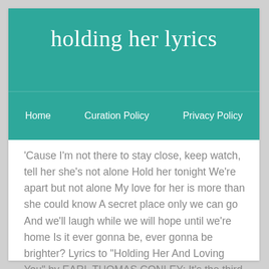holding her lyrics
Home   Curation Policy   Privacy Policy
'Cause I'm not there to stay close, keep watch, tell her she's not alone Hold her tonight We're apart but not alone My love for her is more than she could know A secret place only we can go And we'll laugh while we will hope until we're home Is it ever gonna be, ever gonna be brighter? Lyrics to "Holding Her And Loving You" by EARL THOMAS CONLEY: It's the third hardest thing I'll ever do / Leavin' here without you / And the second hardest thing I'll ever do / Is